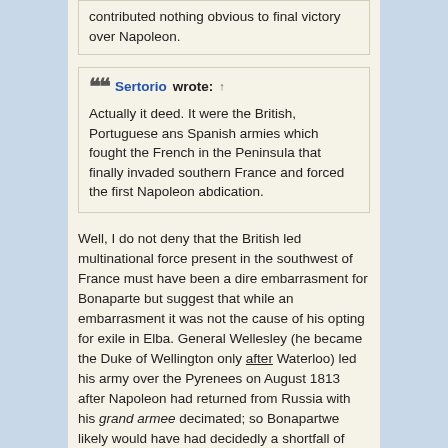contributed nothing obvious to final victory over Napoleon.
Sertorio wrote: ↑
Actually it deed. It were the British, Portuguese ans Spanish armies which fought the French in the Peninsula that finally invaded southern France and forced the first Napoleon abdication.
Well, I do not deny that the British led multinational force present in the southwest of France must have been a dire embarrasment for Bonaparte but suggest that while an embarrasment it was not the cause of his opting for exile in Elba. General Wellesley (he became the Duke of Wellington only after Waterloo) led his army over the Pyrenees on August 1813 after Napoleon had returned from Russia with his grand armee decimated; so Bonapartwe likely would have had decidedly a shortfall of reserves to block the mountain passes entry into France.